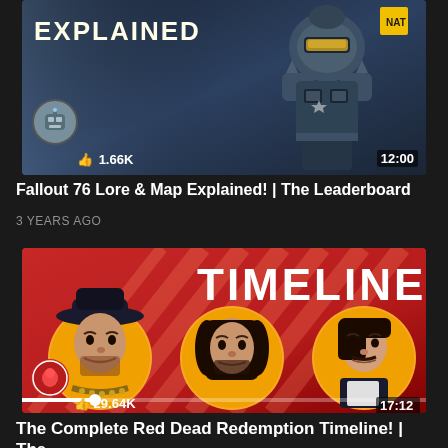[Figure (screenshot): YouTube video thumbnail for 'Fallout 76 Lore & Map Explained! | The Leaderboard' showing a robot in power armor on a dark blue background with text 'EXPLAINED', likes count 1.66K and duration 12:00]
Fallout 76 Lore & Map Explained! | The Leaderboard
3 YEARS AGO
[Figure (screenshot): YouTube video thumbnail for 'The Complete Red Dead Redemption Timeline! | The' showing three western characters in circular portrait frames on red background with large text 'TIMELINE', likes count 29.64K and duration 17:12]
The Complete Red Dead Redemption Timeline! | The